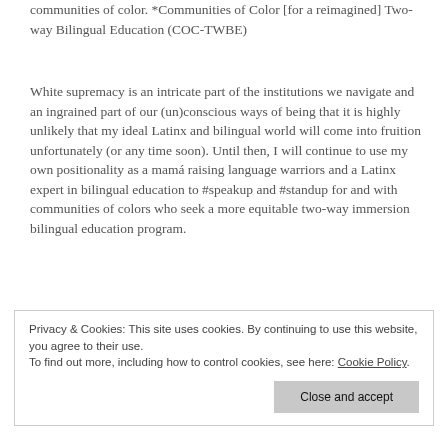communities of color. *Communities of Color [for a reimagined] Two-way Bilingual Education (COC-TWBE)
White supremacy is an intricate part of the institutions we navigate and an ingrained part of our (un)conscious ways of being that it is highly unlikely that my ideal Latinx and bilingual world will come into fruition unfortunately (or any time soon). Until then, I will continue to use my own positionality as a mamá raising language warriors and a Latinx expert in bilingual education to #speakup and #standup for and with communities of colors who seek a more equitable two-way immersion bilingual education program.
Privacy & Cookies: This site uses cookies. By continuing to use this website, you agree to their use. To find out more, including how to control cookies, see here: Cookie Policy
Close and accept